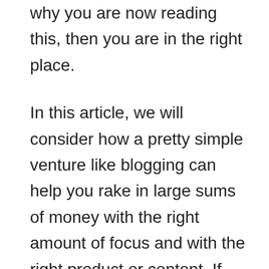why you are now reading this, then you are in the right place.

In this article, we will consider how a pretty simple venture like blogging can help you rake in large sums of money with the right amount of focus and with the right product or content. If you continue reading, you will learn